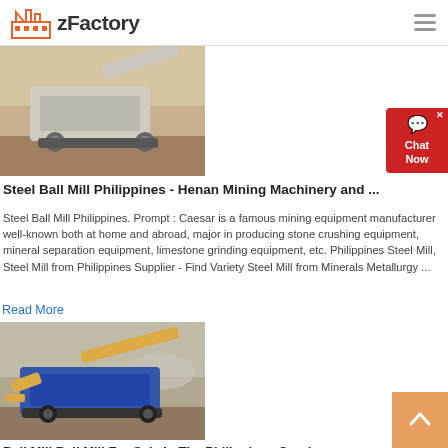zFactory
[Figure (photo): Mobile stone crushing machine in an outdoor quarry setting]
Steel Ball Mill Philippines - Henan Mining Machinery and ...
Steel Ball Mill Philippines. Prompt : Caesar is a famous mining equipment manufacturer well-known both at home and abroad, major in producing stone crushing equipment, mineral separation equipment, limestone grinding equipment, etc. Philippines Steel Mill, Steel Mill from Philippines Supplier - Find Variety Steel Mill from Minerals Metallurgy ...
Read More
[Figure (photo): Blue mobile ball mill crusher machine operating outdoors with dust visible]
Ball Mill Ball Mill For Sale In The Philippines Crusher ...